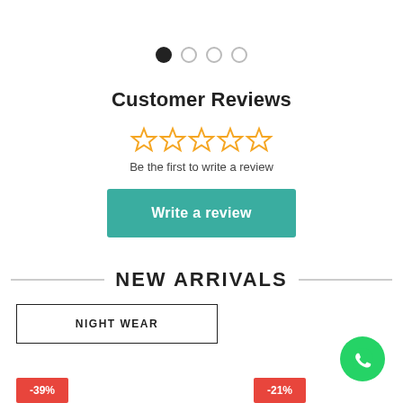[Figure (infographic): Carousel dot indicators: one filled black dot followed by three empty/outline dots]
Customer Reviews
[Figure (other): Five empty star rating icons in gold/yellow]
Be the first to write a review
Write a review
NEW ARRIVALS
NIGHT WEAR
[Figure (other): WhatsApp icon button (green circle with phone icon)]
-39%
-21%